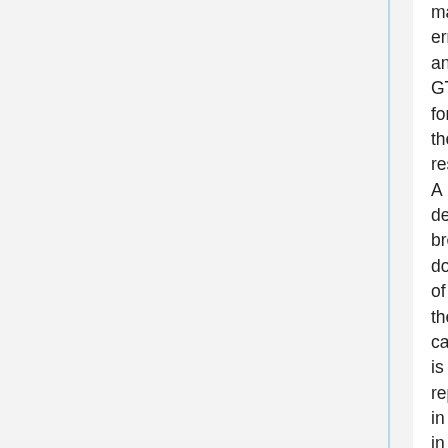major errors, and GT for the rest. A detailed break-down of these captions is reported in in the following table. The authors test their model in two separate cases:
They first test a model using the standard cross-entropy loss, but which now also has access to the corrected captions in addition to the 5GT captions. This model (MLEC) is able to improve over the original MLE model by 1.4 points. They then test the RL model by optimizing the metric wrt the 5GT captions. This brings an additional point, achieving 2.4 over the MLE model. Next, the RL agent is given access to 3GT captions, the "C" captions and feedback sentences. They show that this model outperforms the no-